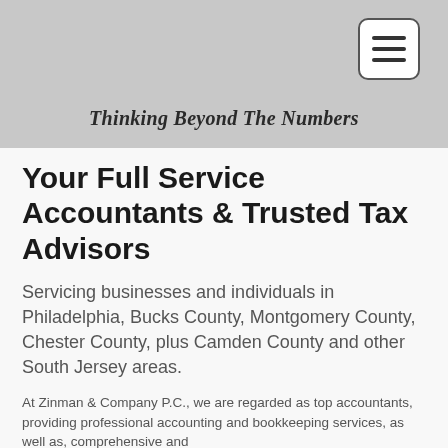Thinking Beyond The Numbers
Your Full Service Accountants & Trusted Tax Advisors
Servicing businesses and individuals in Philadelphia, Bucks County, Montgomery County, Chester County, plus Camden County and other South Jersey areas.
At Zinman & Company P.C., we are regarded as top accountants, providing professional accounting and bookkeeping services, as well as, comprehensive and